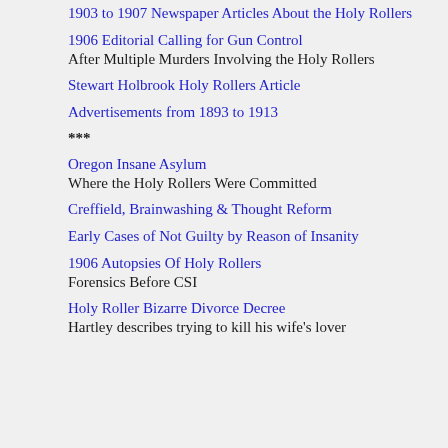1903 to 1907 Newspaper Articles About the Holy Rollers
1906 Editorial Calling for Gun Control
After Multiple Murders Involving the Holy Rollers
Stewart Holbrook Holy Rollers Article
Advertisements from 1893 to 1913
***
Oregon Insane Asylum
Where the Holy Rollers Were Committed
Creffield, Brainwashing & Thought Reform
Early Cases of Not Guilty by Reason of Insanity
1906 Autopsies Of Holy Rollers
Forensics Before CSI
Holy Roller Bizarre Divorce Decree
Hartley describes trying to kill his wife's lover